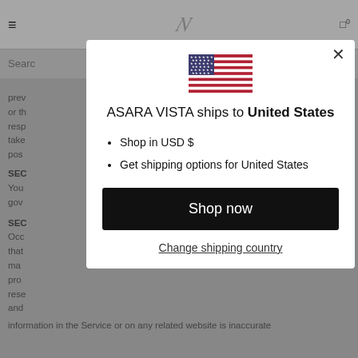Navigation bar with hamburger menu, logo, and cart icon
Search
prev... ...d us or th... ...y resp... ...We take... ...ts pos...
SEC...
You ... gov...
SEC...
Occ... ...rice that... ...that ma... pro... rese... anc...
information in the Service or on any related website is inaccurate
[Figure (infographic): Modal dialog showing ASARA VISTA ships to United States with US flag, shop options, and Shop now button]
ASARA VISTA ships to United States
Shop in USD $
Get shipping options for United States
Shop now
Change shipping country